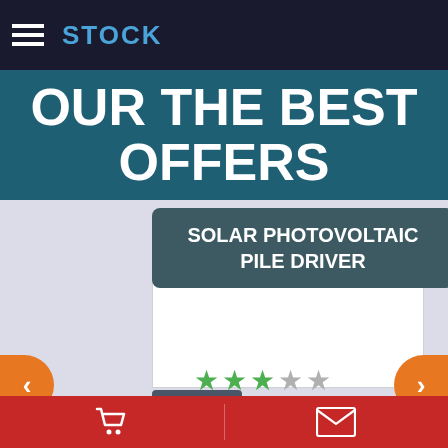STOCK
OUR THE BEST OFFERS
SOLAR PHOTOVOLTAIC PILE DRIVER
[Figure (other): Product listing page for Solar Photovoltaic Pile Driver showing white product image area with 3-star rating, 20 units badge, ID:1252, Manufactured by: Shandong. Navigation arrows on left and right. Cart and envelope icons in bottom bar.]
20 UNITS
ID:1252
Manufactured by: Shandong